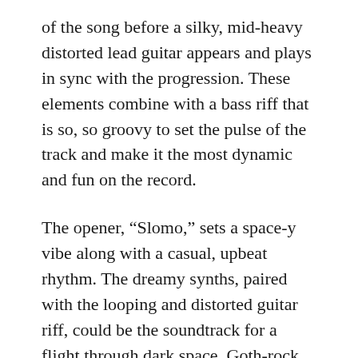of the song before a silky, mid-heavy distorted lead guitar appears and plays in sync with the progression. These elements combine with a bass riff that is so, so groovy to set the pulse of the track and make it the most dynamic and fun on the record.
The opener, “Slomo,” sets a space-y vibe along with a casual, upbeat rhythm. The dreamy synths, paired with the looping and distorted guitar riff, could be the soundtrack for a flight through dark space. Goth-rock elements are apparent in “Star Roving,” where the vocals almost resemble Peter Murphy’s from Bauhaus, and the guitar riffs with reverb-heavy distortion and rhythmic strums sound akin to the guitars of Christian Death.
The album’s only weakness lies in the lyrics, which are neither particularly distinct or profound. As the vocals are usually lower in volume than the instruments and drenched in a heavy hall reverb, the words are muddled together and often